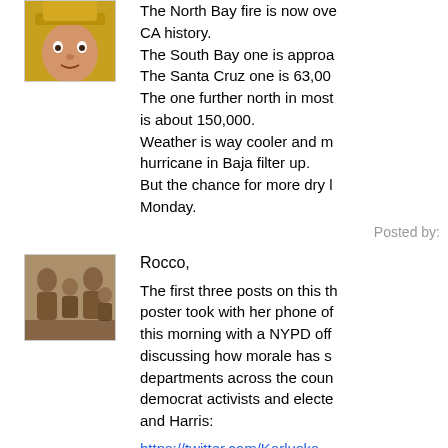[Figure (photo): Avatar photo showing a person wearing a yellow hat, close-up face shot]
The North Bay fire is now ove CA history. The South Bay one is approa The Santa Cruz one is 63,00 The one further north in most is about 150,000. Weather is way cooler and m hurricane in Baja filter up. But the chance for more dry l Monday.
Posted by:
[Figure (photo): Avatar photo showing a vintage sepia-toned photo of a family group with children]
Rocco,
The first three posts on this th poster took with her phone of this morning with a NYPD off discussing how morale has s departments across the coun democrat activists and electe and Harris:
https://twitter.com/Karluska